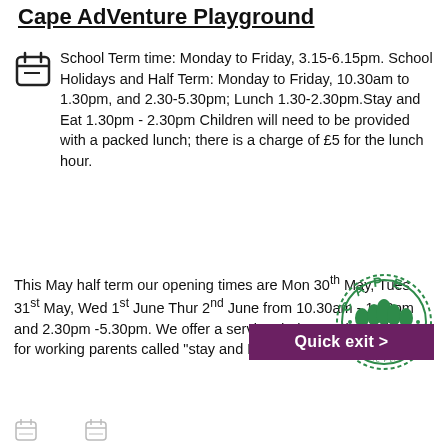Cape AdVenture Playground
School Term time: Monday to Friday, 3.15-6.15pm. School Holidays and Half Term: Monday to Friday, 10.30am to 1.30pm, and 2.30-5.30pm; Lunch 1.30-2.30pm.Stay and Eat 1.30pm - 2.30pm Children will need to be provided with a packed lunch; there is a charge of £5 for the lunch hour.
This May half term our opening times are Mon 30th May, Tues 31st May, Wed 1st June Thur 2nd June from 10.30am - 1.30pm and 2.30pm -5.30pm. We offer a service during our hour closure for working parents called "stay and Eat" which supports children
[Figure (logo): Cape Adventure Playground circular green logo with trees]
Quick exit >